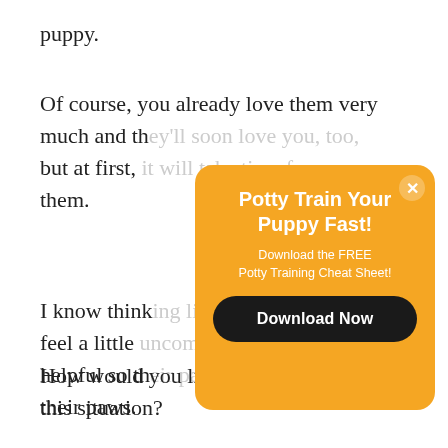puppy.
Of course, you already love them very much and they'll soon love you, too, but at first, it will take time for them.
[Figure (screenshot): Orange popup modal with title 'Potty Train Your Puppy Fast!', subtitle 'Download the FREE Potty Training Cheat Sheet!', and a dark 'Download Now' button. An X close button is in the top-right corner.]
I know thinking like this makes feel a little uncomfortable, but it's helpful so th their paws.
How would you like to be treated in this situation?